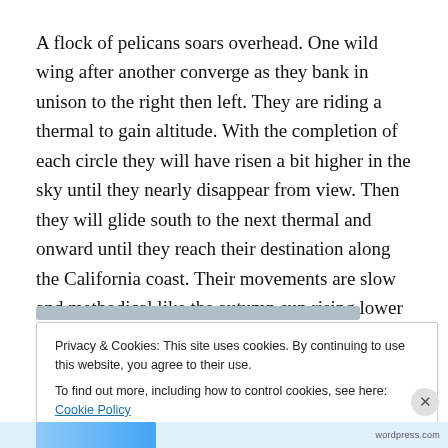A flock of pelicans soars overhead. One wild wing after another converge as they bank in unison to the right then left. They are riding a thermal to gain altitude. With the completion of each circle they will have risen a bit higher in the sky until they nearly disappear from view. Then they will glide south to the next thermal and onward until they reach their destination along the California coast. Their movements are slow and methodical like the autumn sun rising lower in the southern sky as the season deepens.
Privacy & Cookies: This site uses cookies. By continuing to use this website, you agree to their use.
To find out more, including how to control cookies, see here: Cookie Policy